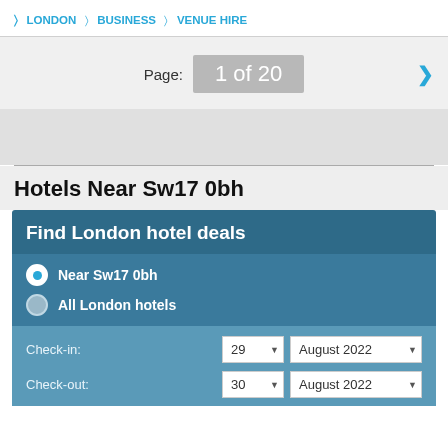LONDON > BUSINESS > VENUE HIRE
Page: 1 of 20
Hotels Near Sw17 0bh
Find London hotel deals
Near Sw17 0bh
All London hotels
Check-in: 29 August 2022
Check-out: 30 August 2022